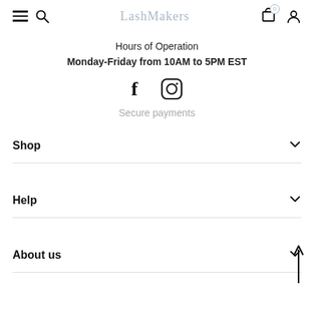LashMakers — nav bar with hamburger, search, cart (0), and user icon
Hours of Operation
Monday-Friday from 10AM to 5PM EST
[Figure (illustration): Social media icons: Facebook (f) and Instagram (camera/circle logo)]
Secure payments
Shop
Help
About us